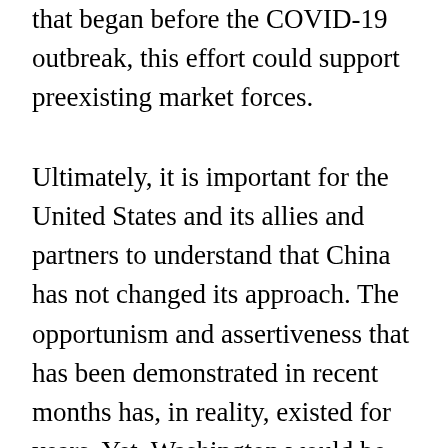that began before the COVID-19 outbreak, this effort could support preexisting market forces.
Ultimately, it is important for the United States and its allies and partners to understand that China has not changed its approach. The opportunism and assertiveness that has been demonstrated in recent months has, in reality, existed for years. Yet, Washington would be deluding itself if it were to trust that China will not take advantage of the current situation. Even as it faces devastating losses from the novel coronavirus, the United States cannot afford